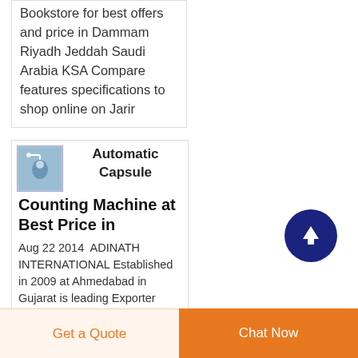Bookstore for best offers and price in Dammam Riyadh Jeddah Saudi Arabia KSA Compare features specifications to shop online on Jarir
[Figure (photo): Small thumbnail image of earphone/capsule device in blue tones]
Automatic Capsule Counting Machine at Best Price in
Aug 22 2014  ADINATH INTERNATIONAL Established in 2009 at Ahmedabad in Gujarat is leading Exporter Manufacturer Supplier
[Figure (other): Dark navy circular scroll-to-top button with upward arrow icon]
Get a Quote
Chat Now